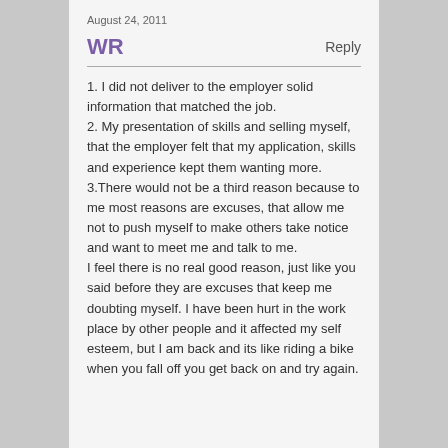August 24, 2011
WR
Reply
1. I did not deliver to the employer solid information that matched the job.
2. My presentation of skills and selling myself, that the employer felt that my application, skills and experience kept them wanting more.
3.There would not be a third reason because to me most reasons are excuses, that allow me not to push myself to make others take notice and want to meet me and talk to me.
I feel there is no real good reason, just like you said before they are excuses that keep me doubting myself. I have been hurt in the work place by other people and it affected my self esteem, but I am back and its like riding a bike when you fall off you get back on and try again.